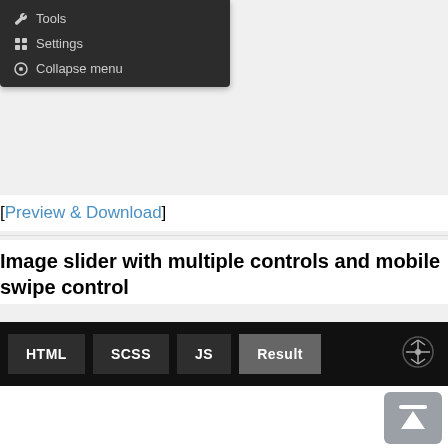[Figure (screenshot): Dark navigation menu with items: Tools (wrench icon), Settings (plus/grid icon), Collapse menu (circle icon)]
[Preview & Download]
Image slider with multiple controls and mobile swipe control
[Figure (screenshot): CodePen-style editor tab bar with HTML, SCSS, JS tabs and active Result tab, plus a crosshair/move icon on the right]
[Figure (screenshot): White result preview area with a grey scroll-to-top button in the bottom right corner]